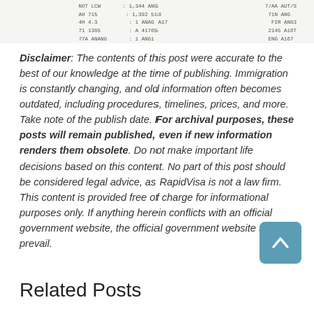[Figure (table-as-image): Partial table snippet visible at the top of the page showing rows of data with numbers and codes in monospace font]
Disclaimer: The contents of this post were accurate to the best of our knowledge at the time of publishing. Immigration is constantly changing, and old information often becomes outdated, including procedures, timelines, prices, and more. Take note of the publish date. For archival purposes, these posts will remain published, even if new information renders them obsolete. Do not make important life decisions based on this content. No part of this post should be considered legal advice, as RapidVisa is not a law firm. This content is provided free of charge for informational purposes only. If anything herein conflicts with an official government website, the official government website shall prevail.
Related Posts